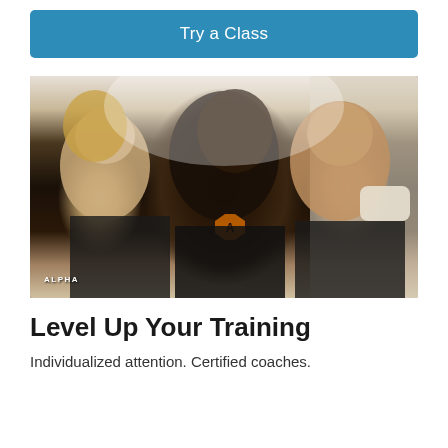Try a Class
[Figure (photo): Three people in black Alpha fitness gear laughing and hugging after a workout. An ALPHA logo watermark is visible in the bottom left corner.]
Level Up Your Training
Individualized attention. Certified coaches.